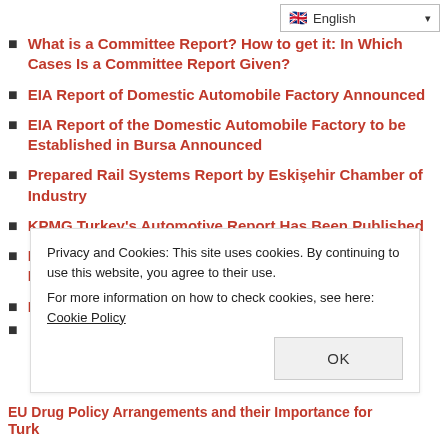English (language selector)
What is a Committee Report? How to get it: In Which Cases Is a Committee Report Given?
EIA Report of Domestic Automobile Factory Announced
EIA Report of the Domestic Automobile Factory to be Established in Bursa Announced
Prepared Rail Systems Report by Eskişehir Chamber of Industry
KPMG Turkey's Automotive Report Has Been Published
Ford Automotive Will Suspend Production at Gölcük Factory
Ford Automotive Will Suspend Production
Privacy and Cookies: This site uses cookies. By continuing to use this website, you agree to their use. For more information on how to check cookies, see here: Cookie Policy
OK